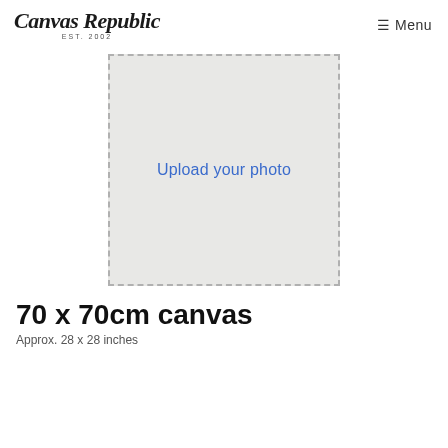Canvas Republic EST. 2002 ☰ Menu
[Figure (other): Upload photo placeholder box with dashed border and text 'Upload your photo']
70 x 70cm canvas
Approx. 28 x 28 inches